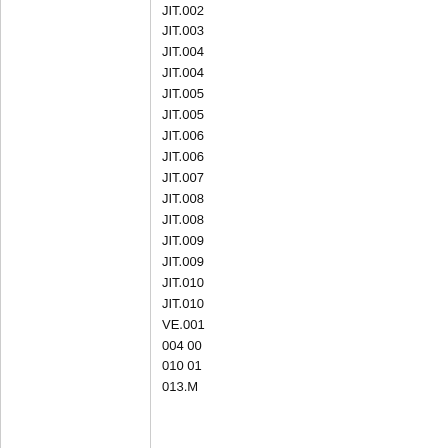|  |  |  |
| --- | --- | --- |
|  |  | JIT.002 |
|  |  | JIT.003 |
|  |  | JIT.004 |
|  |  | JIT.004 |
|  |  | JIT.005 |
|  |  | JIT.005 |
|  |  | JIT.006 |
|  |  | JIT.006 |
|  |  | JIT.007 |
|  |  | JIT.008 |
|  |  | JIT.008 |
|  |  | JIT.009 |
|  |  | JIT.009 |
|  |  | JIT.010 |
|  |  | JIT.010 |
|  |  | VE.001 |
|  |  | 004 00 |
|  |  | 010 01 |
|  |  | 013.M |